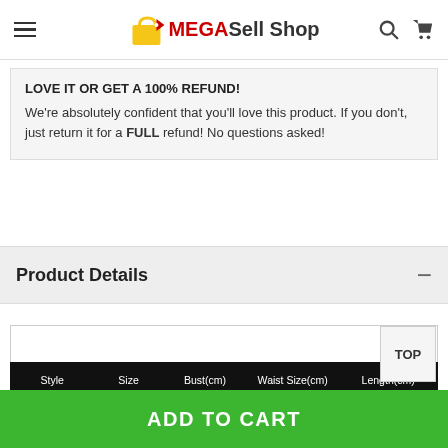MEGASell Shop — navigation bar with hamburger menu, logo, search and cart icons
LOVE IT OR GET A 100% REFUND! We're absolutely confident that you'll love this product. If you don't, just return it for a FULL refund! No questions asked!
Product Details
| Style | Size | Bust(cm) | Waist Size(cm) | Length(cm) |
| --- | --- | --- | --- | --- |
ADD TO CART